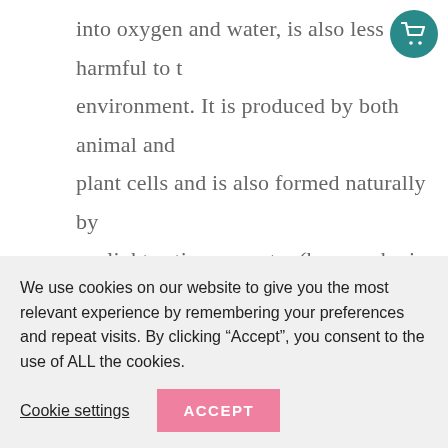into oxygen and water, is also less harmful to the environment. It is produced by both animal and plant cells and is also formed naturally by sunlight acting on water (hence why is light-sensitive!)
Essential Oils: Essential oils are the oils extracted from various parts of plants. In addition to their
We use cookies on our website to give you the most relevant experience by remembering your preferences and repeat visits. By clicking “Accept”, you consent to the use of ALL the cookies.
Cookie settings | ACCEPT